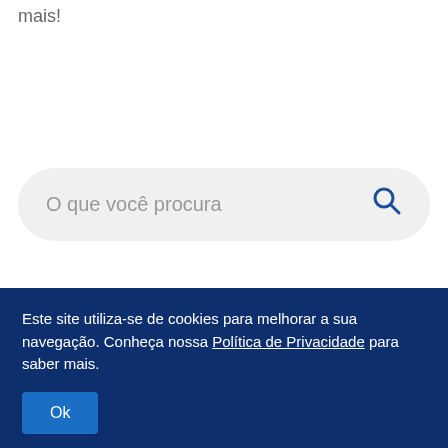mais!
[Figure (screenshot): Search bar with placeholder text 'O que você procura' and a blue magnifier icon on the right, on a light grey rounded pill background]
Categorias
Este site utiliza-se de cookies para melhorar a sua navegação. Conheça nossa Política de Privacidade para saber mais.
Ok